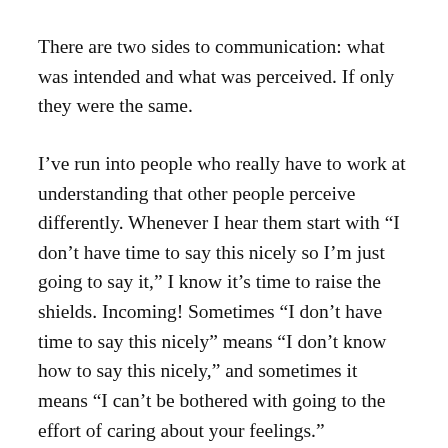There are two sides to communication: what was intended and what was perceived. If only they were the same.
I've run into people who really have to work at understanding that other people perceive differently. Whenever I hear them start with “I don’t have time to say this nicely so I’m just going to say it,” I know it’s time to raise the shields. Incoming! Sometimes “I don’t have time to say this nicely” means “I don’t know how to say this nicely,” and sometimes it means “I can’t be bothered with going to the effort of caring about your feelings.”
They may have meant well. Or they may not. The